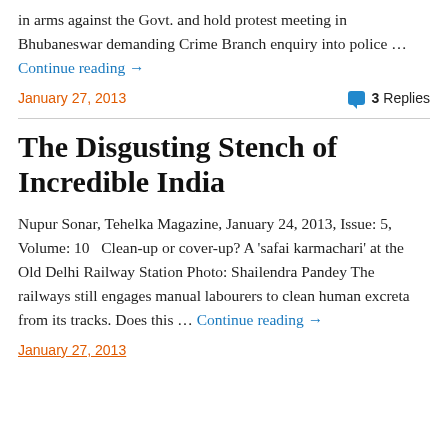in arms against the Govt. and hold protest meeting in Bhubaneswar demanding Crime Branch enquiry into police … Continue reading →
January 27, 2013
3 Replies
The Disgusting Stench of Incredible India
Nupur Sonar, Tehelka Magazine, January 24, 2013, Issue: 5, Volume: 10   Clean-up or cover-up? A 'safai karmachari' at the Old Delhi Railway Station Photo: Shailendra Pandey The railways still engages manual labourers to clean human excreta from its tracks. Does this … Continue reading →
January 27, 2013